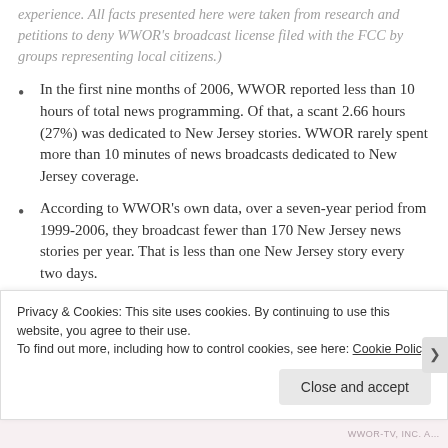experience. All facts presented here were taken from research and petitions to deny WWOR's broadcast license filed with the FCC by groups representing local citizens.)
In the first nine months of 2006, WWOR reported less than 10 hours of total news programming. Of that, a scant 2.66 hours (27%) was dedicated to New Jersey stories. WWOR rarely spent more than 10 minutes of news broadcasts dedicated to New Jersey coverage.
According to WWOR's own data, over a seven-year period from 1999-2006, they broadcast fewer than 170 New Jersey news stories per year. That is less than one New Jersey story every two days.
Over the course of a 15-month study, only 46% of New
Privacy & Cookies: This site uses cookies. By continuing to use this website, you agree to their use. To find out more, including how to control cookies, see here: Cookie Policy